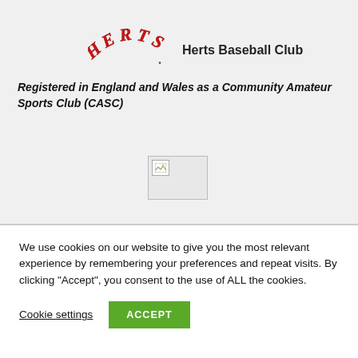[Figure (logo): Herts Baseball Club logo with arched red serif 'HERTS.' text and club name]
Registered in England and Wales as a Community Amateur Sports Club (CASC)
[Figure (photo): Broken/unloaded image placeholder]
We use cookies on our website to give you the most relevant experience by remembering your preferences and repeat visits. By clicking "Accept", you consent to the use of ALL the cookies.
Cookie settings
ACCEPT